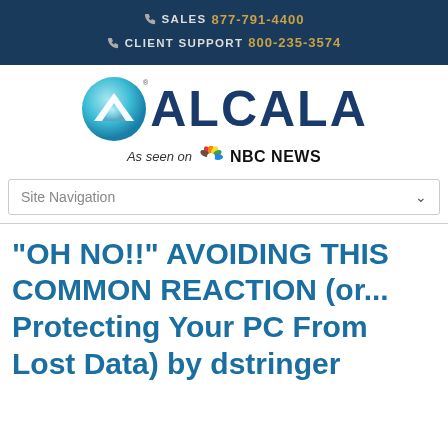SALES 877-791-4400 | CLIENT SUPPORT 800-235-3574
[Figure (logo): Alcala company logo with teal mountain/wave symbol and NBC News mention]
Site Navigation
“OH NO!!” AVOIDING THIS COMMON REACTION (or... Protecting Your PC From Lost Data) by dstringer